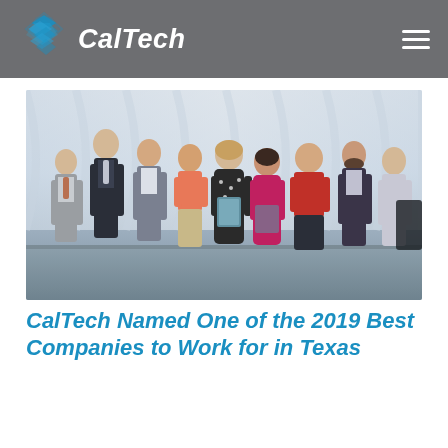CalTech
[Figure (photo): Group photo of CalTech employees at an awards event. Nine people standing in a row on a stage with white curtain backdrop, holding an award plaque. The two people in the center are holding the award. People are dressed in professional and semi-formal attire.]
CalTech Named One of the 2019 Best Companies to Work for in Texas